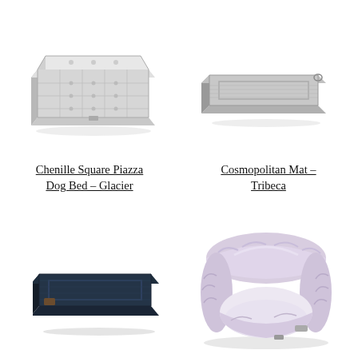[Figure (photo): Chenille Square Piazza Dog Bed in Glacier colorway - a light grey tufted square cushion dog bed photographed from a slight angle]
[Figure (photo): Cosmopolitan Mat in Tribeca colorway - a flat grey pet mat with bordered edge, photographed from above at slight angle]
Chenille Square Piazza Dog Bed – Glacier
Cosmopolitan Mat – Tribeca
[Figure (photo): Dark navy blue flat pet mat with stitched border, photographed from slight angle showing thickness]
[Figure (photo): Light lavender/pink fluffy cuddler dog bed with high sides, soft sherpa-like texture, photographed from front angle]